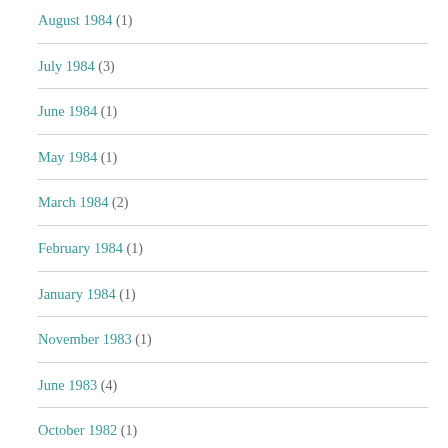August 1984 (1)
July 1984 (3)
June 1984 (1)
May 1984 (1)
March 1984 (2)
February 1984 (1)
January 1984 (1)
November 1983 (1)
June 1983 (4)
October 1982 (1)